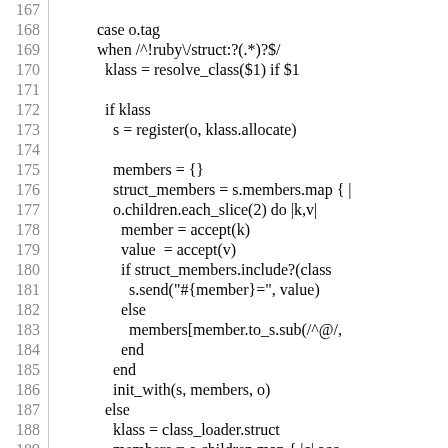[Figure (screenshot): Source code listing (Ruby) with line numbers 167-197, showing case/when/if/else logic for resolving struct class members and registering objects.]